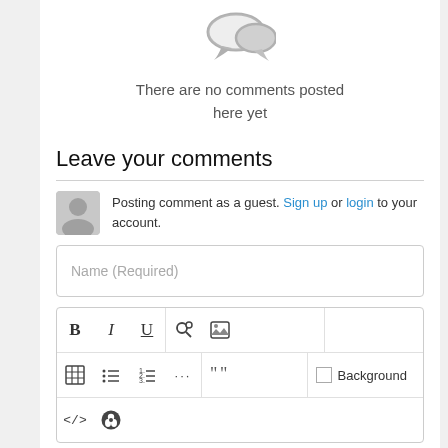[Figure (illustration): Gray speech bubble/comment icon]
There are no comments posted here yet
Leave your comments
Posting comment as a guest. Sign up or login to your account.
Name (Required)
[Figure (screenshot): Text editor toolbar with formatting buttons: Bold (B), Italic (I), Underline (U), Link icon, Image icon, Table icon, Bullet list, Numbered list, Ellipsis, Quote icon, Code (</> ), GitHub icon, Background checkbox]